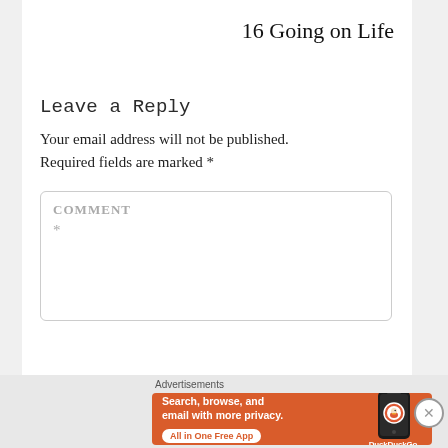16 Going on Life
Leave a Reply
Your email address will not be published. Required fields are marked *
COMMENT
*
Advertisements
[Figure (screenshot): DuckDuckGo advertisement banner: 'Search, browse, and email with more privacy. All in One Free App' with DuckDuckGo logo on a phone, orange background.]